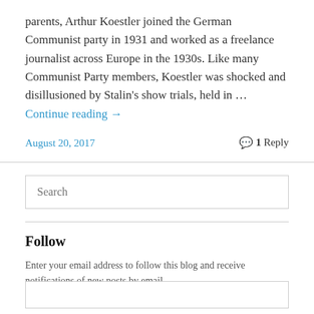parents, Arthur Koestler joined the German Communist party in 1931 and worked as a freelance journalist across Europe in the 1930s. Like many Communist Party members, Koestler was shocked and disillusioned by Stalin's show trials, held in … Continue reading →
August 20, 2017
1 Reply
Search
Follow
Enter your email address to follow this blog and receive notifications of new posts by email.